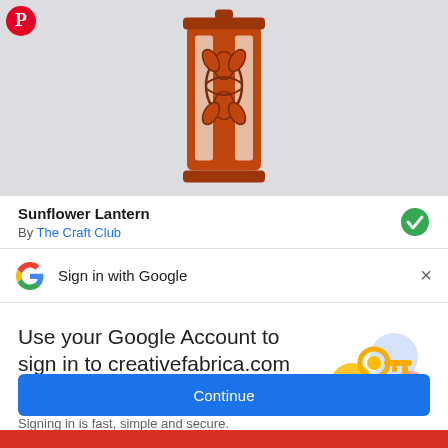[Figure (screenshot): Product card showing a red/orange laser-cut Sunflower Lantern on a light gray background. Pinterest logo visible top left.]
Sunflower Lantern
By The Craft Club
Sign in with Google
Use your Google Account to sign in to creativefabrica.com
No more passwords to remember.
Signing in is fast, simple and secure.
[Figure (illustration): Google key illustration with colorful circles and a golden key]
Continue